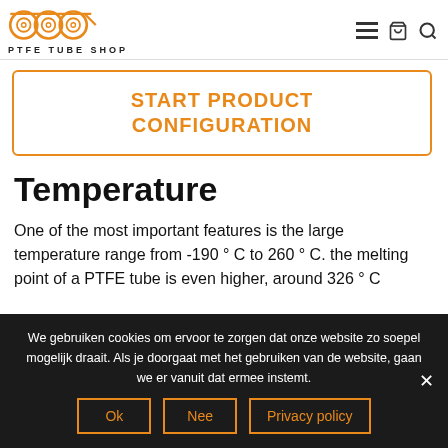PTFE TUBE SHOP
START PRODUCT CONFIGURATION
Temperature
One of the most important features is the large temperature range from -190 ° C to 260 ° C. the melting point of a PTFE tube is even higher, around 326 ° C
We gebruiken cookies om ervoor te zorgen dat onze website zo soepel mogelijk draait. Als je doorgaat met het gebruiken van de website, gaan we er vanuit dat ermee instemt.
Ok | Nee | Privacy policy